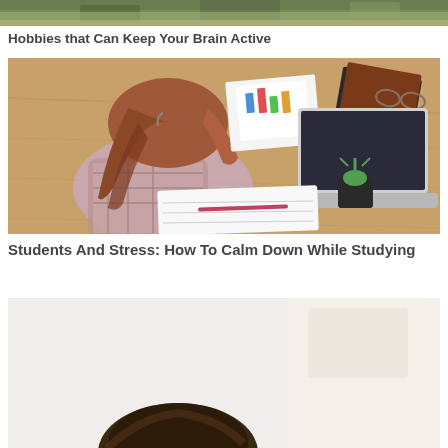[Figure (photo): Top portion of an outdoor photo, partially cropped at top of page]
Hobbies that Can Keep Your Brain Active
[Figure (photo): A student with reddish-brown hair face down on a wooden desk surrounded by notebooks, papers with charts, a laptop, glasses, and a small potted succulent plant]
Students And Stress: How To Calm Down While Studying
[Figure (photo): Bottom portion of a photo showing a person from above, partially cropped at bottom of page]